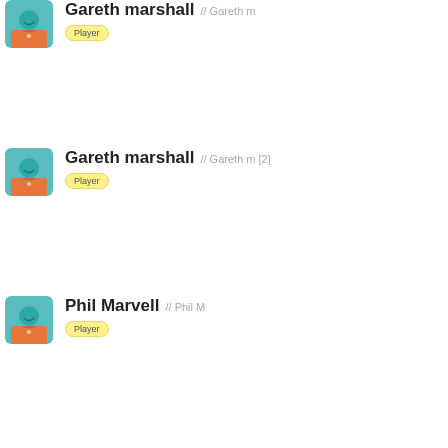[Figure (illustration): Avatar icon of player with teal head and orange jersey]
Gareth marshall // Gareth m
Player
[Figure (illustration): Avatar icon of player with teal head and orange jersey]
Gareth marshall // Gareth m [2]
Player
[Figure (illustration): Avatar icon of player with teal head and orange jersey]
Phil Marvell // Phil M
Player